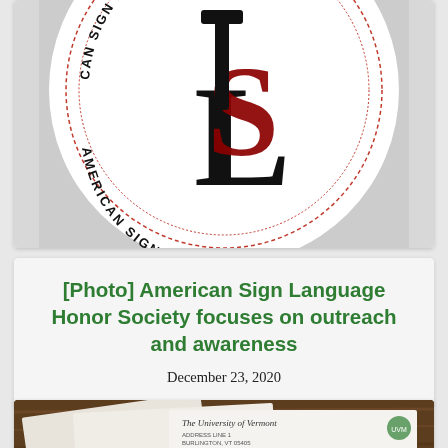[Figure (logo): American Sign Language Honor Society circular logo seal, partially cropped at top, showing 'AMERICAN SIGN LANGUAGE' text around a circle with ASL letters/monogram in black and dark red in the center.]
[Photo] American Sign Language Honor Society focuses on outreach and awareness
December 23, 2020
[Figure (photo): Partial photo at bottom showing envelopes or letters on a wooden surface, with text 'The University of Vermont' visible on one envelope.]